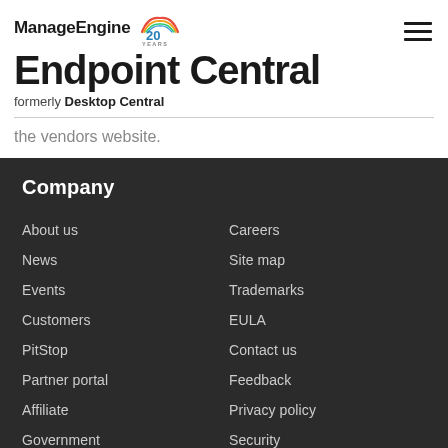ManageEngine Endpoint Central formerly Desktop Central
the vendors website.
Company
About us
Careers
News
Site map
Events
Trademarks
Customers
EULA
PitStop
Contact us
Partner portal
Feedback
Affiliate
Privacy policy
Government
Security
Newsletter
Security response center
Cookie policy